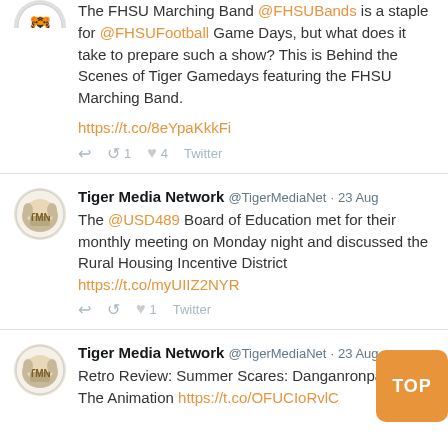The FHSU Marching Band @FHSUBands is a staple for @FHSUFootball Game Days, but what does it take to prepare such a show? This is Behind the Scenes of Tiger Gamedays featuring the FHSU Marching Band.
https://t.co/8eYpaKkkFi
↩ ↺1 ♥4 Twitter
Tiger Media Network @TigerMediaNet · 23 Aug
The @USD489 Board of Education met for their monthly meeting on Monday night and discussed the Rural Housing Incentive District https://t.co/myUIIZ2NYR
↩ ↺ ♥1 Twitter
Tiger Media Network @TigerMediaNet · 23 Aug
Retro Review: Summer Scares: Danganronpa The Animation https://t.co/OFUCIoRvlC